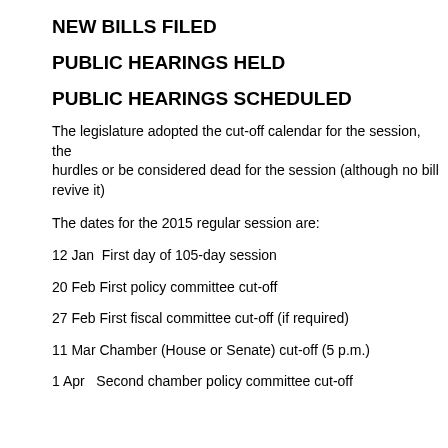NEW BILLS FILED
PUBLIC HEARINGS HELD
PUBLIC HEARINGS SCHEDULED
The legislature adopted the cut-off calendar for the session, the hurdles or be considered dead for the session (although no bill revive it)
The dates for the 2015 regular session are:
12 Jan  First day of 105-day session
20 Feb First policy committee cut-off
27 Feb First fiscal committee cut-off (if required)
11 Mar Chamber (House or Senate) cut-off (5 p.m.)
1 Apr   Second chamber policy committee cut-off